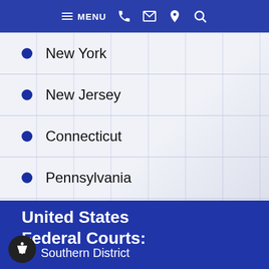MENU [navigation icons]
New York
New Jersey
Connecticut
Pennsylvania
United States Federal Courts:
Southern District